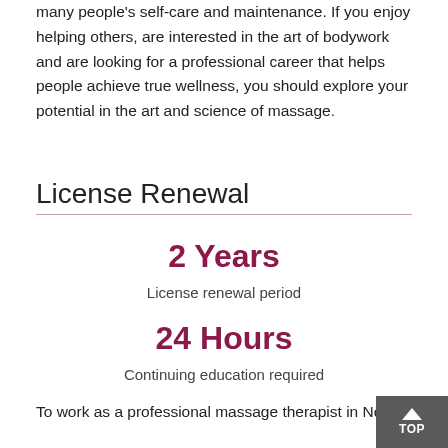many people's self-care and maintenance. If you enjoy helping others, are interested in the art of bodywork and are looking for a professional career that helps people achieve true wellness, you should explore your potential in the art and science of massage.
License Renewal
2 Years
License renewal period
24 Hours
Continuing education required
To work as a professional massage therapist in No... Carolina, you will need to complete 500 hours to...